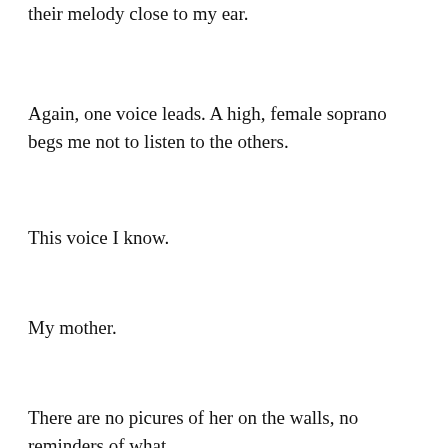their melody close to my ear.
Again, one voice leads. A high, female soprano begs me not to listen to the others.
This voice I know.
My mother.
There are no picures of her on the walls, no reminders of what happened. She never lost it like she did when I was a child...